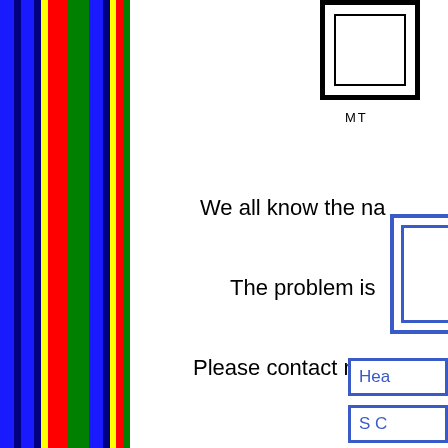[Figure (schematic): Black double-bordered rectangle box partially visible at top right, with label 'MT' below it]
MT
We all know the na
The problem is
Please contact me if yo
[Figure (schematic): Blue double-bordered large rectangle box partially visible at right side middle]
[Figure (schematic): Blue bordered button labeled 'Hea' partially visible at bottom right]
[Figure (schematic): Blue bordered button labeled 'S C' partially visible at bottom right]